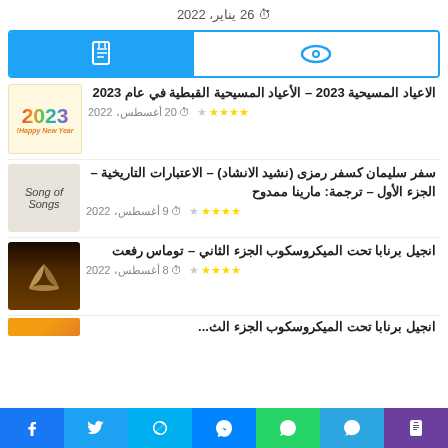26 يناير، 2022
[Figure (screenshot): Tab bar with eye icon (white tab) and document icon (blue tab)]
الاعياد المسيحية 2023 – الأعياد المسيحية القبطية في عام 2023
★★★★☆  20 أغسطس، 2022
[Figure (illustration): 2023 Happy New Year colorful graphic]
سفر سليمان كسفر رمزى (نشيد الانشاد) – الاعتبارات التاريخية – الجزء الأول – ترجمة: مارينا ممدوح
★★★★☆  9 أغسطس، 2022
[Figure (photo): Song of Songs book photo]
انجيل برنابا تحت الميكروسكوب الجزء الثاني – توماس رفعت
★★★★☆  8 أغسطس، 2022
[Figure (photo): Open book illuminated from below]
Phone | Telegram | WhatsApp | Messenger | Skype | Twitter | Facebook